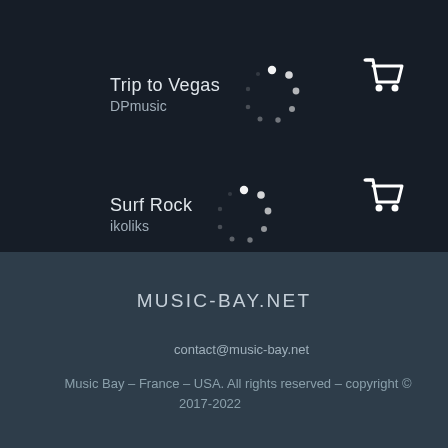Trip to Vegas
DPmusic
[Figure (other): Shopping cart icon]
Surf Rock
ikoliks
[Figure (other): Shopping cart icon]
MUSIC-BAY.NET
contact@music-bay.net
Music Bay – France – USA. All rights reserved – copyright © 2017-2022